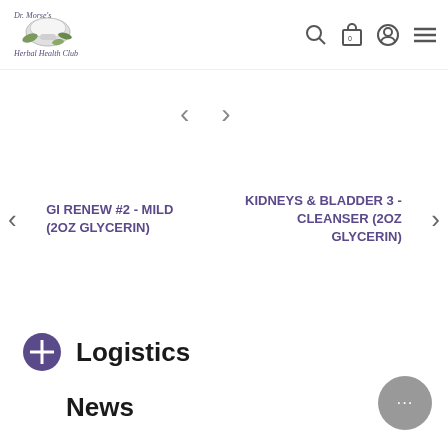Dr. Morse's Herbal Health Club
[Figure (other): Navigation carousel left/right arrows]
GI RENEW #2 - MILD (2OZ GLYCERIN)
KIDNEYS & BLADDER 3 - CLEANSER (2OZ GLYCERIN)
Logistics
News